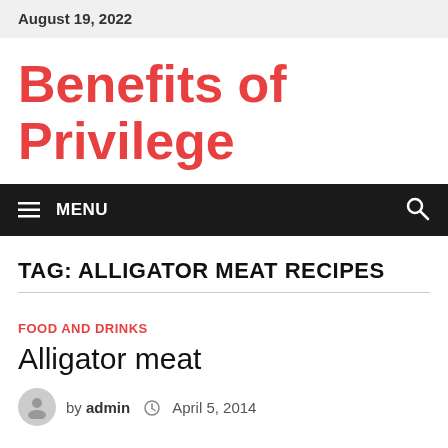August 19, 2022
Benefits of Privilege
MENU
TAG: ALLIGATOR MEAT RECIPES
FOOD AND DRINKS
Alligator meat
by admin  April 5, 2014